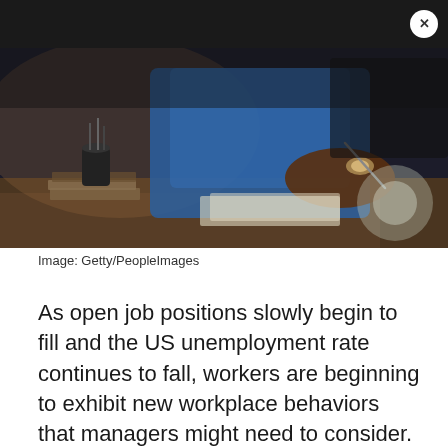[Figure (photo): Person in blue shirt writing or working at a desk, dimly lit office setting. Photo credit: Getty/PeopleImages.]
Image: Getty/PeopleImages
As open job positions slowly begin to fill and the US unemployment rate continues to fall, workers are beginning to exhibit new workplace behaviors that managers might need to consider. With wages stagnant and inflation continuing to climb, workers feeling stuck in their professional growth are beginning to "quiet quit" their jobs.
Quiet quitting isn't quitting your job entirely. It's the